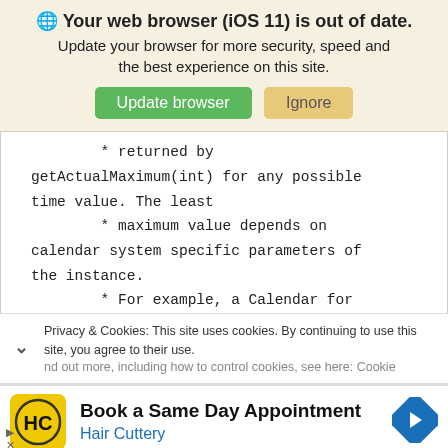[Figure (screenshot): Browser update notification banner with globe icon, bold text 'Your web browser (iOS 11) is out of date.', subtitle text, and two buttons: green 'Update browser' and tan 'Ignore']
* returned by getActualMaximum(int) for any possible time value. The least
        * maximum value depends on calendar system specific parameters of the instance.
        * For example, a Calendar for
Privacy & Cookies: This site uses cookies. By continuing to use this site, you agree to their use.
nd out more, including how to control cookies, see here: Cookie
[Figure (screenshot): Advertisement banner for Hair Cuttery: logo with HC initials on yellow background, text 'Book a Same Day Appointment', subtitle 'Hair Cuttery', blue navigation arrow icon on right]